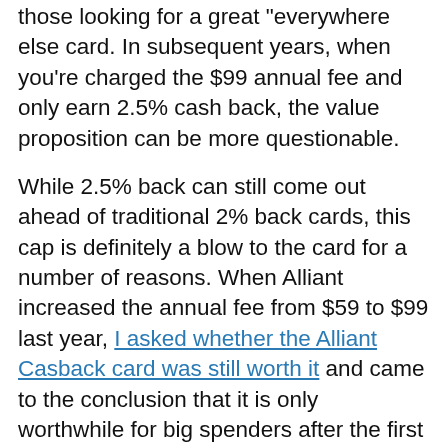those looking for a great “everywhere else” card. In subsequent years, when you’re charged the $99 annual fee and only earn 2.5% cash back, the value proposition can be more questionable.
While 2.5% back can still come out ahead of traditional 2% back cards, this cap is definitely a blow to the card for a number of reasons. When Alliant increased the annual fee from $59 to $99 last year, I asked whether the Alliant Casback card was still worth it and came to the conclusion that it is only worthwhile for big spenders after the first year (3% back the first year with the annual fee waived is still a solid offer). In fact, in that post, I noted that in order to actually earn a true 2.45% cash back after